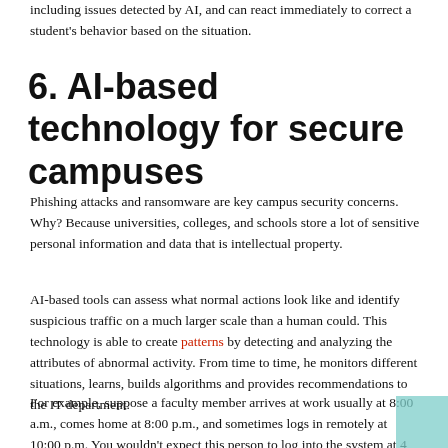including issues detected by AI, and can react immediately to correct a student's behavior based on the situation.
6. AI-based technology for secure campuses
Phishing attacks and ransomware are key campus security concerns. Why? Because universities, colleges, and schools store a lot of sensitive personal information and data that is intellectual property.
AI-based tools can assess what normal actions look like and identify suspicious traffic on a much larger scale than a human could. This technology is able to create patterns by detecting and analyzing the attributes of abnormal activity. From time to time, he monitors different situations, learns, builds algorithms and provides recommendations to the IT department.
For example, suppose a faculty member arrives at work usually at 8:00 a.m., comes home at 8:00 p.m., and sometimes logs in remotely at 10:00 p.m. You wouldn't expect this person to log into the system at 4 a.m. : 00 am from India. AI can detect such deviations and block